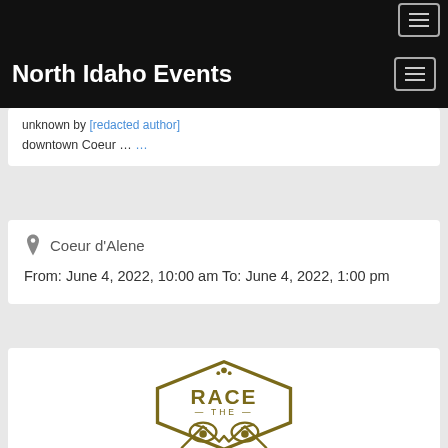North Idaho Events
unknown by [redacted author link]
downtown Coeur ... ...
Coeur d'Alene
From: June 4, 2022, 10:00 am To: June 4, 2022, 1:00 pm
[Figure (logo): Race the [something] logo — hexagonal badge with owl eyes and mountains, olive/gold color scheme, text reads RACE THE]